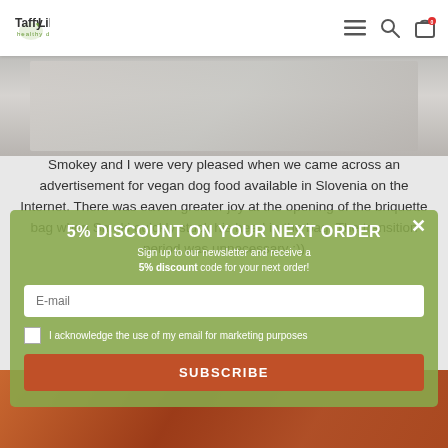[Figure (logo): Taffy & Lilly healthy dogs logo with green leaf]
[Figure (photo): Navigation bar icons: hamburger menu, search, cart with red badge showing 0]
[Figure (photo): Blurred/cropped photo of dog at top of page]
Smokey and I were very pleased when we came across an advertisement for vegan dog food available in Slovenia on the Internet. There was eaven greater joy at the opening of the briquette bag when Smoki quickly stuck his head in the bag. The transition period was unnecessary :))
- Nena -
[Figure (screenshot): Modal popup overlay with green background showing 5% DISCOUNT ON YOUR NEXT ORDER, sign up to newsletter text, email input, checkbox for marketing acknowledgement, and SUBSCRIBE button]
5% DISCOUNT ON YOUR NEXT ORDER
Sign up to our newsletter and receive a 5% discount code for your next order!
I acknowledge the use of my email for marketing purposes
SUBSCRIBE